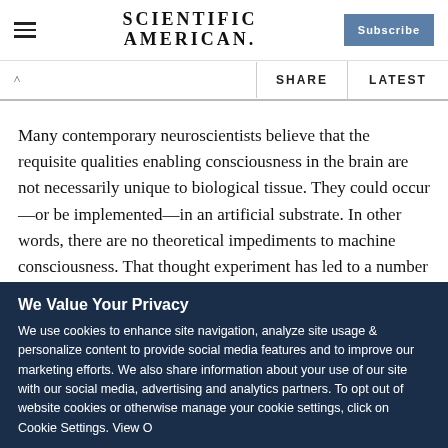SCIENTIFIC AMERICAN.
Many contemporary neuroscientists believe that the requisite qualities enabling consciousness in the brain are not necessarily unique to biological tissue. They could occur—or be implemented—in an artificial substrate. In other words, there are no theoretical impediments to machine consciousness. That thought experiment has led to a number of dystopian fiction
We Value Your Privacy
We use cookies to enhance site navigation, analyze site usage & personalize content to provide social media features and to improve our marketing efforts. We also share information about your use of our site with our social media, advertising and analytics partners. To opt out of website cookies or otherwise manage your cookie settings, click on Cookie Settings. View O...